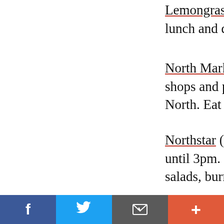Lemongrass Fusion Bistro (641 N High St), lunch and dinner steaks, duck, chicken, sea
North Market (59 Spruce St), a cornucopia shops and prepared food stands of many e North. Eat here, or take-out to park, home
Northstar (951 N High St), healthy, hearty until 3pm. Muffins to full plates of meat a salads, burritos, and sandwiches, meat or v
Piece of Cake (772 N High St), puff pastry chicken salads, pies, muffins, scones, cakes
The Angry Baker (247 King Ave), breakfast